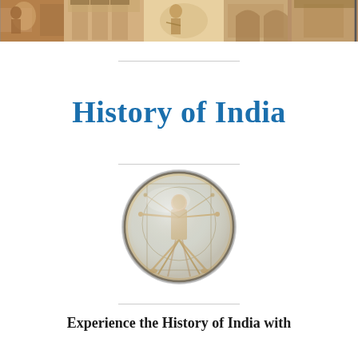[Figure (illustration): A horizontal decorative banner strip at the top of the page showing historical scenes and figures in warm earthy tones, including classical artworks and architectural elements.]
History of India
[Figure (illustration): A circular medallion/button image of Leonardo da Vinci's Vitruvian Man showing a human figure with arms and legs outstretched in a circle, rendered in a glass-bead convex style.]
Experience the History of India with